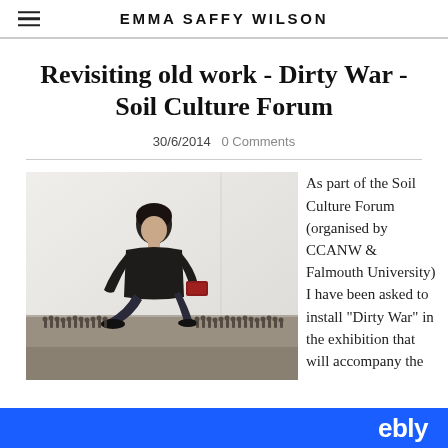EMMA SAFFY WILSON
Revisiting old work - Dirty War - Soil Culture Forum
30/6/2014   0 Comments
[Figure (photo): Person crouching among small figurines/toy soldiers arranged on the floor in an exhibition space, holding a red object]
As part of the Soil Culture Forum (organised by CCANW & Falmouth University) I have been asked to install "Dirty War" in the exhibition that will accompany the
ebly